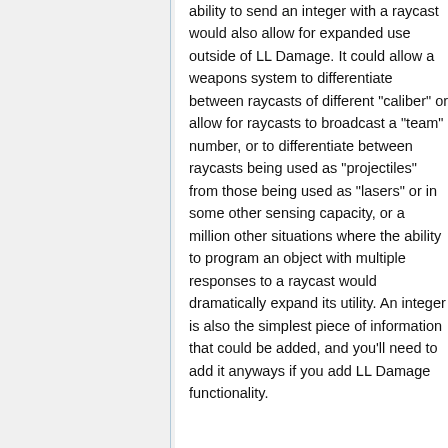ability to send an integer with a raycast would also allow for expanded use outside of LL Damage. It could allow a weapons system to differentiate between raycasts of different "caliber" or allow for raycasts to broadcast a "team" number, or to differentiate between raycasts being used as "projectiles" from those being used as "lasers" or in some other sensing capacity, or a million other situations where the ability to program an object with multiple responses to a raycast would dramatically expand its utility. An integer is also the simplest piece of information that could be added, and you'll need to add it anyways if you add LL Damage functionality.